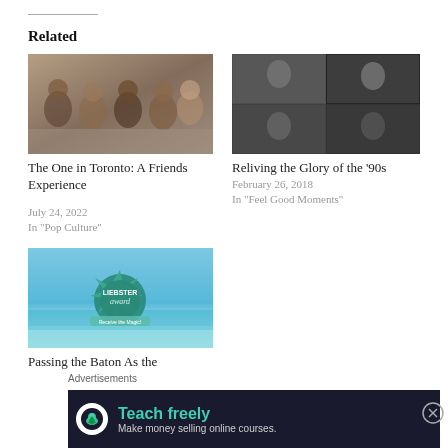Related
[Figure (photo): Group photo from Friends TV show]
The One in Toronto: A Friends Experience
July 24, 2022
In "Pop Culture"
[Figure (photo): Collage of 90s music artists]
Reliving the Glory of the '90s
February 26, 2018
In "Feel Good Moments"
[Figure (photo): Liebster Award badge over beach scene]
Passing the Baton As the
Advertisements
[Figure (screenshot): Advertisement: Teach freely - Make money selling online courses]